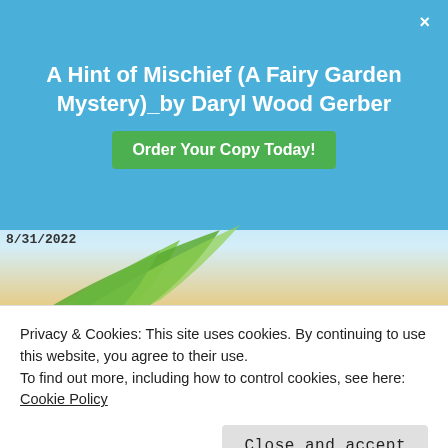A Hint of Mischief (A Fairy Garden Mystery)_by Daryl Wood Gerber
Order Your Copy Today!
8/31/2022
ANNE LOUISE BANNON
A great choice for fans of historical mystery.
~Books A Plenty Books Review
Privacy & Cookies: This site uses cookies. By continuing to use this website, you agree to their use.
To find out more, including how to control cookies, see here:
Cookie Policy
Close and accept